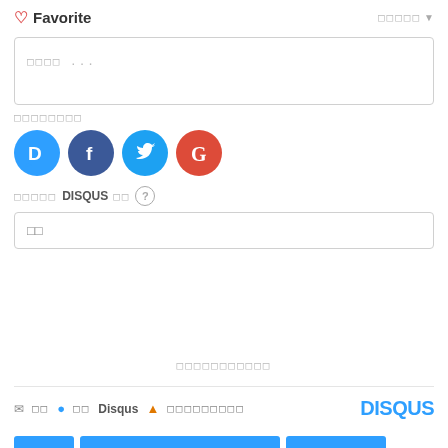♡ Favorite
□□□□□ ▼
□□□□ ...
□□□□□□□□
[Figure (infographic): Four social login icons: Disqus (blue D), Facebook (dark blue F), Twitter (light blue bird), Google (red G)]
□□□□□ DISQUS □□ ?
□□
□□□□□□□□□□□
✉ □□ ● □□ Disqus ▲ □□□□□□□□□
DISQUS